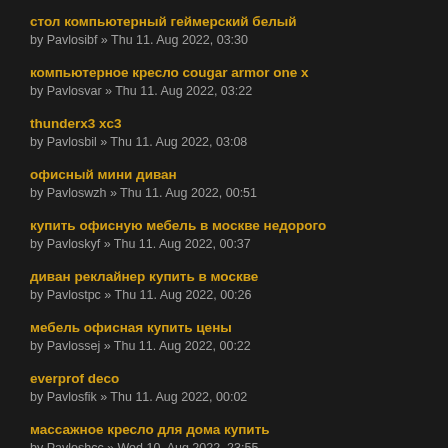стол компьютерный геймерский белый
by Pavlosibf » Thu 11. Aug 2022, 03:30
компьютерное кресло cougar armor one x
by Pavlosvar » Thu 11. Aug 2022, 03:22
thunderx3 xc3
by Pavlosbil » Thu 11. Aug 2022, 03:08
офисный мини диван
by Pavloswzh » Thu 11. Aug 2022, 00:51
купить офисную мебель в москве недорого
by Pavloskyf » Thu 11. Aug 2022, 00:37
диван реклайнер купить в москве
by Pavlostpc » Thu 11. Aug 2022, 00:26
мебель офисная купить цены
by Pavlossej » Thu 11. Aug 2022, 00:22
everprof deco
by Pavlosfik » Thu 11. Aug 2022, 00:02
массажное кресло для дома купить
by Pavloshcc » Wed 10. Aug 2022, 23:55